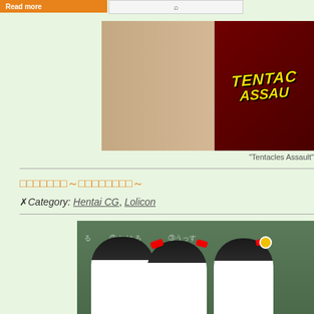Read more
[Figure (photo): Advertisement banner for 'Tentacles Assault' adult game showing a figure on red background with yellow stylized text]
"Tentacles Assault"
□□□□□□□～□□□□□□□□～
✗Category: Hentai CG, Lolicon
[Figure (illustration): Anime-style illustration of three young cartoon characters with black hair in front of a green chalkboard with Japanese text]